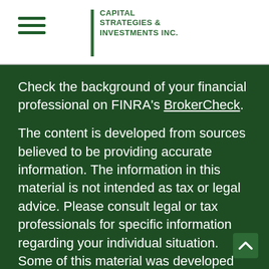Capital Strategies & Investments Inc.
Check the background of your financial professional on FINRA's BrokerCheck.
The content is developed from sources believed to be providing accurate information. The information in this material is not intended as tax or legal advice. Please consult legal or tax professionals for specific information regarding your individual situation. Some of this material was developed and produced by FMG Suite to provide information on a topic that may be of interest. FMG Suite is not affiliated with the named representative, broker - dealer, state - or SEC - registered investment advisory firm. The opinions expressed and material